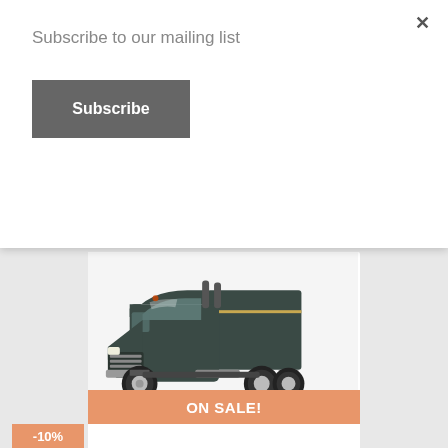Subscribe to our mailing list
Subscribe
×
[Figure (photo): Dark grey Mack Anthem tractor truck model (die-cast toy), side view showing cab and rear axles on white background]
2019 Mack Anthem Tractor...
$14.97
ON SALE!
-10%